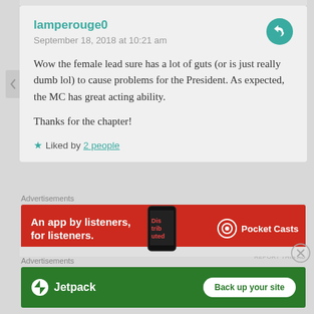lamperouge0
September 18, 2018 at 10:21 am
Wow the female lead sure has a lot of guts (or is just really dumb lol) to cause problems for the President. As expected, the MC has great acting ability.

Thanks for the chapter!
Liked by 2 people
Advertisements
[Figure (screenshot): Pocket Casts advertisement banner: red background with phone image showing 'Distributed' app and Pocket Casts logo. Text: 'An app by listeners, for listeners.']
REPORT THIS AD
Advertisements
[Figure (screenshot): Jetpack advertisement banner: green background with Jetpack logo and 'Back up your site' button.]